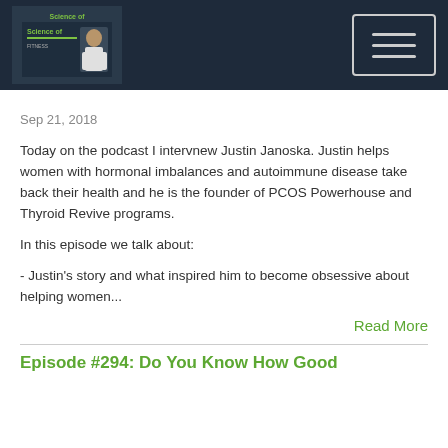Science of [podcast logo] — navigation bar with hamburger menu
Sep 21, 2018
Today on the podcast I intervnew Justin Janoska. Justin helps women with hormonal imbalances and autoimmune disease take back their health and he is the founder of PCOS Powerhouse and Thyroid Revive programs.
In this episode we talk about:
- Justin's story and what inspired him to become obsessive about helping women...
Read More
Episode #294: Do You Know How Good